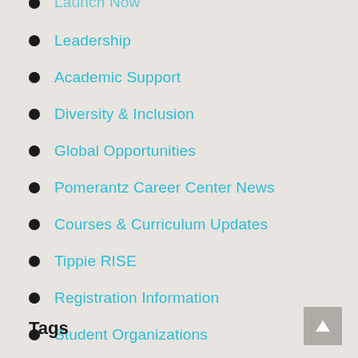Leadership
Academic Support
Diversity & Inclusion
Global Opportunities
Pomerantz Career Center News
Courses & Curriculum Updates
Tippie RISE
Registration Information
Student Organizations
Tags